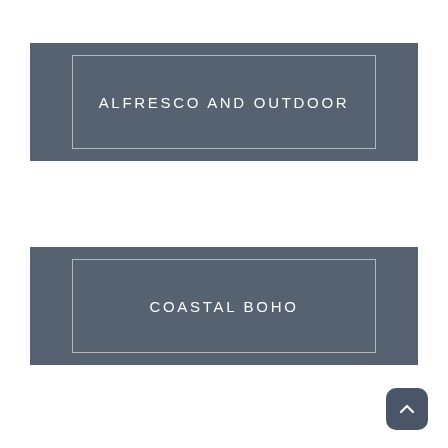ALFRESCO AND OUTDOOR
COASTAL BOHO
[Figure (other): Back to top arrow button, dark rounded square icon with upward chevron]